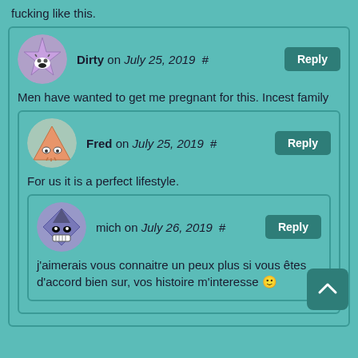fucking like this.
Dirty on July 25, 2019 # Reply
Men have wanted to get me pregnant for this. Incest family
Fred on July 25, 2019 # Reply
For us it is a perfect lifestyle.
mich on July 26, 2019 # Reply
j'aimerais vous connaitre un peux plus si vous êtes d'accord bien sur, vos histoire m'interesse 🙂